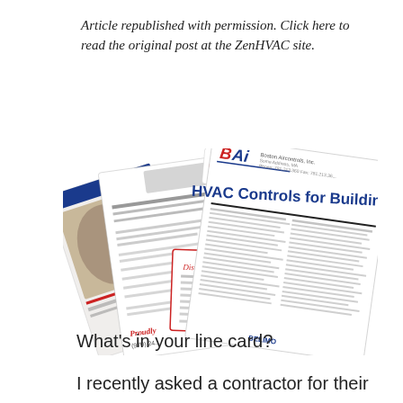Article republished with permission. Click here to read the original post at the ZenHVAC site.
[Figure (photo): Fanned-out collection of HVAC line cards and brochures including one labeled 'HVAC Controls for Buildings' from Boston Aircontrols Inc., a card showing 'Distributor of', one showing 'PROUDI' and a phone number '(970) 24...' and other product literature spread like a deck of cards.]
What's in your line card?
I recently asked a contractor for their